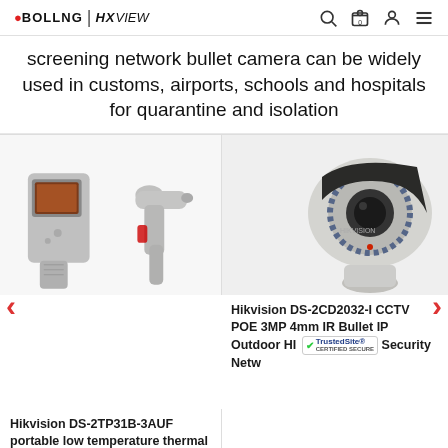BOLLNG | HXVIEW
screening network bullet camera can be widely used in customs, airports, schools and hospitals for quarantine and isolation
[Figure (photo): Two handheld thermal imaging devices - a thermal imager and an infrared thermometer gun, both grey in color]
Hikvision DS-2TP31B-3AUF portable low temperature thermal imager temperature screening handheld
[Figure (photo): Hikvision DS-2CD2032-I grey bullet CCTV IP outdoor security camera with IR LEDs ring around lens]
Hikvision DS-2CD2032-I CCTV POE 3MP 4mm IR Bullet IP Outdoor HI Security Netw